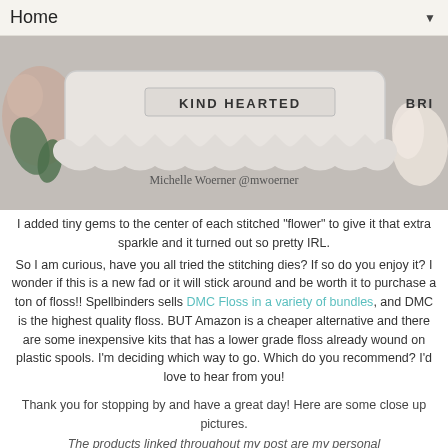Home ▼
[Figure (photo): Craft/scrapbooking die with 'KIND HEARTED' text and scalloped edge, with flowers, watermark: Michelle Woerner @mwoerner]
I added tiny gems to the center of each stitched "flower" to give it that extra sparkle and it turned out so pretty IRL.
So I am curious, have you all tried the stitching dies? If so do you enjoy it? I wonder if this is a new fad or it will stick around and be worth it to purchase a ton of floss!! Spellbinders sells DMC Floss in a variety of bundles, and DMC is the highest quality floss. BUT Amazon is a cheaper alternative and there are some inexpensive kits that has a lower grade floss already wound on plastic spools. I'm deciding which way to go. Which do you recommend? I'd love to hear from you!
Thank you for stopping by and have a great day! Here are some close up pictures.
The products linked throughout my post are my personal